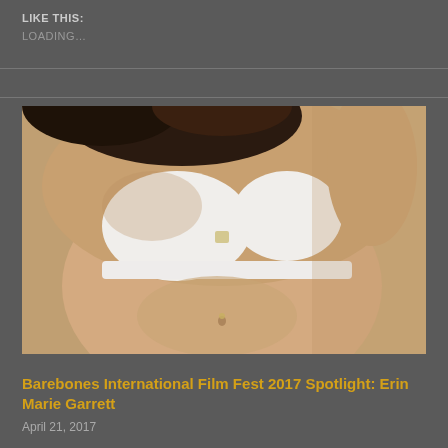LIKE THIS:
LOADING...
[Figure (photo): A woman photographed from the torso area, wearing a white strapless bikini top, with dark hair, posed against a neutral tan/beige background]
Barebones International Film Fest 2017 Spotlight: Erin Marie Garrett
April 21, 2017